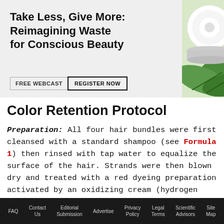[Figure (illustration): Advertisement banner with text 'Take Less, Give More: Reimagining Waste for Conscious Beauty' and a FREE WEBCAST / REGISTER NOW button, alongside an image of a cream jar with green leaves.]
Color Retention Protocol
Preparation: All four hair bundles were first cleansed with a standard shampoo (see Formula 1) then rinsed with tap water to equalize the surface of the hair. Strands were then blown dry and treated with a red dyeing preparation activated by an oxidizing cream (hydrogen peroxide @ 20 vol.) in a ratio of 1:1.5, which remained on hair for 30 min
FAQ  Contact Us  Editorial Submission  Advertise  Privacy Policy  Legal Terms  Scientific Advisors  Site Map